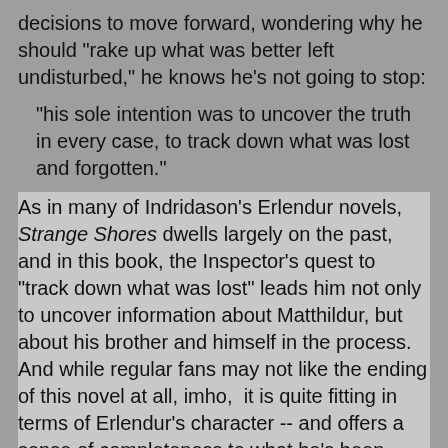decisions to move forward, wondering why he should "rake up what was better left undisturbed," he knows he's not going to stop:
"his sole intention was to uncover the truth in every case, to track down what was lost and forgotten."
As in many of Indridason's Erlendur novels, Strange Shores dwells largely on the past, and in this book, the Inspector's quest to "track down what was lost" leads him not only to uncover information about Matthildur, but about his brother and himself in the process.  And while regular fans may not like the ending of this novel at all, imho,  it is quite fitting in terms of Erlendur's character -- and offers a sense of completeness to what he's been looking for throughout most of his life.
Even considering the feelings I have about the ending of this book, it is truly one of Indridason's best, a book no crime fiction reader following this series should miss.  It is the most poignant of the entire series, the most beautifully written, and trust me, one you will not soon forget.  Regular readers of